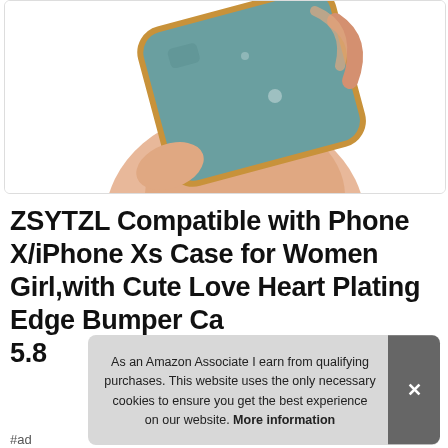[Figure (photo): A hand holding a smartphone (iPhone) face-down showing the teal/blue back and gold rose edges of a phone case, set against a white background inside a bordered frame.]
ZSYTZL Compatible with Phone X/iPhone Xs Case for Women Girl,with Cute Love Heart Plating Edge Bumper Ca 5.8
As an Amazon Associate I earn from qualifying purchases. This website uses the only necessary cookies to ensure you get the best experience on our website. More information
#ad